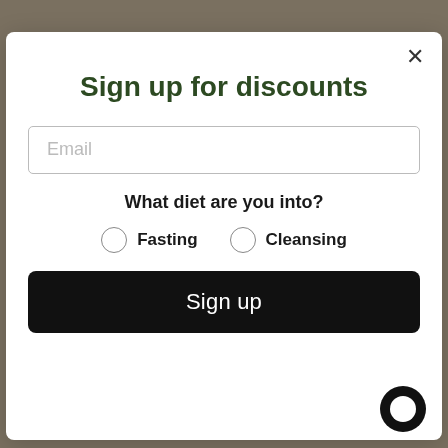Sign up for discounts
Email
What diet are you into?
Fasting
Cleansing
Sign up